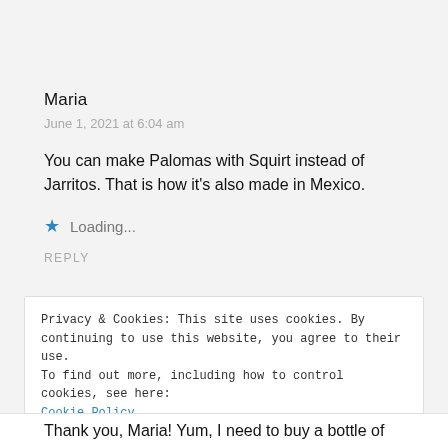Maria
June 1, 2021 at 6:04 am
You can make Palomas with Squirt instead of Jarritos. That is how it's also made in Mexico.
Loading...
REPLY
Privacy & Cookies: This site uses cookies. By continuing to use this website, you agree to their use.
To find out more, including how to control cookies, see here:
Cookie Policy
Close and accept
Thank you, Maria! Yum, I need to buy a bottle of